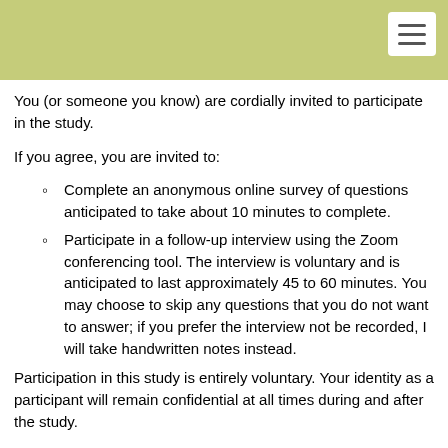[Figure (other): Olive green header bar with a white hamburger menu button in the top right corner]
You (or someone you know) are cordially invited to participate in the study.
If you agree, you are invited to:
Complete an anonymous online survey of questions anticipated to take about 10 minutes to complete.
Participate in a follow-up interview using the Zoom conferencing tool. The interview is voluntary and is anticipated to last approximately 45 to 60 minutes. You may choose to skip any questions that you do not want to answer; if you prefer the interview not be recorded, I will take handwritten notes instead.
Participation in this study is entirely voluntary. Your identity as a participant will remain confidential at all times during and after the study.
If you would like to participate in the survey, please begin the survey via the link below.
Suppose you would like to participate in the follow-up interview. In that case, there is an opportunity to provide your contact information